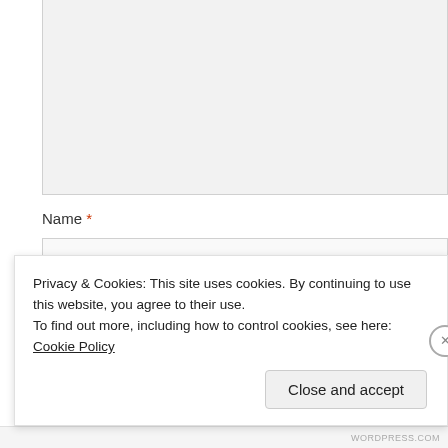[Figure (screenshot): Web form textarea input field (large, light grey background)]
Name *
[Figure (screenshot): Name input text field]
Email *
[Figure (screenshot): Email input text field]
Privacy & Cookies: This site uses cookies. By continuing to use this website, you agree to their use.
To find out more, including how to control cookies, see here: Cookie Policy
Close and accept